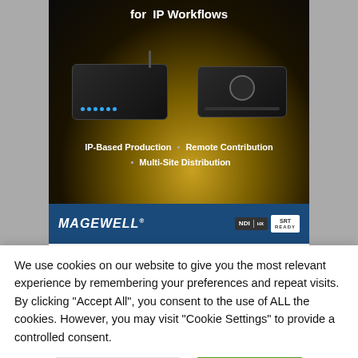[Figure (illustration): Magewell advertisement showing two network devices (Pro Convert and Flex I/O) on a dark background with gold swirl patterns. Text reads 'for IP Workflows', 'IP-Based Production • Remote Contribution • Multi-Site Distribution'. Bottom bar shows Magewell logo with NDI|HX and SRT READY badges.]
[Figure (illustration): Partial Bridge Live advertisement with purple background showing the Bridge Live logo in white.]
We use cookies on our website to give you the most relevant experience by remembering your preferences and repeat visits. By clicking "Accept All", you consent to the use of ALL the cookies. However, you may visit "Cookie Settings" to provide a controlled consent.